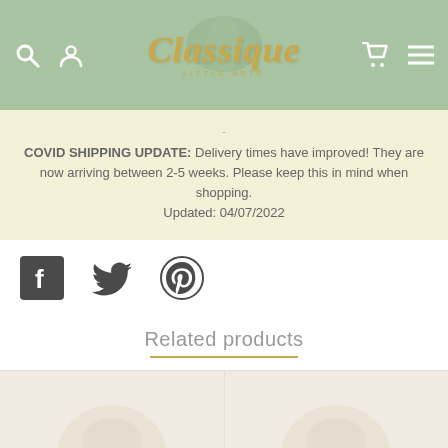Classique little arte — website header with logo and navigation icons
COVID SHIPPING UPDATE: Delivery times have improved! They are now arriving between 2-5 weeks. Please keep this in mind when shopping. Updated: 04/07/2022
[Figure (other): Social media icons: Facebook, Twitter, Pinterest]
Related products
[Figure (photo): Two product thumbnail images at the bottom of the page]